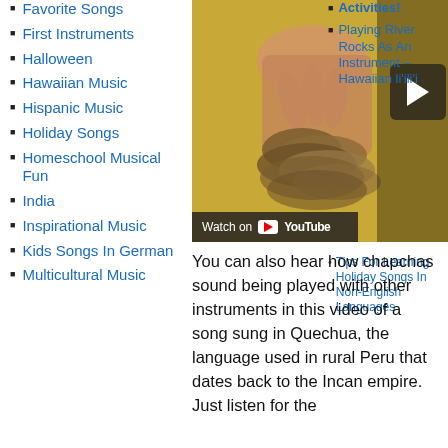Favorite Songs
First Instruments
Halloween
Hawaiian Music
Hispanic Music
Holiday Songs
Homeschool Musical Fun
India
Inspirational Music
Kids Songs In German
Multicultural Music
[Figure (screenshot): YouTube video thumbnail showing a hand playing chapchas on a yellow background, with Watch on YouTube overlay bar]
Activities!
Playing River Rocks As An Instrument – Hawaiian li'ili'i
Tips For Learning Holiday Songs In Non-English Languages
You can also hear how chapchas sound being played with other instruments in this video of a song sung in Quechua, the language used in rural Peru that dates back to the Incan empire. Just listen for the